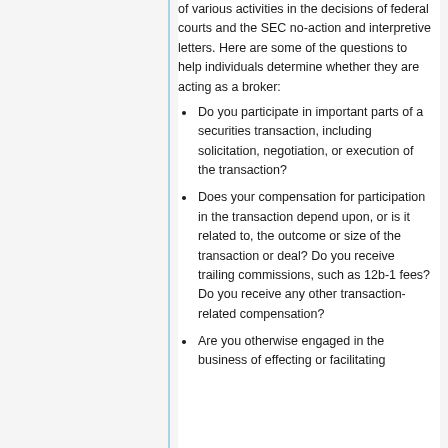of various activities in the decisions of federal courts and the SEC no-action and interpretive letters. Here are some of the questions to help individuals determine whether they are acting as a broker:
Do you participate in important parts of a securities transaction, including solicitation, negotiation, or execution of the transaction?
Does your compensation for participation in the transaction depend upon, or is it related to, the outcome or size of the transaction or deal? Do you receive trailing commissions, such as 12b-1 fees? Do you receive any other transaction-related compensation?
Are you otherwise engaged in the business of effecting or facilitating...